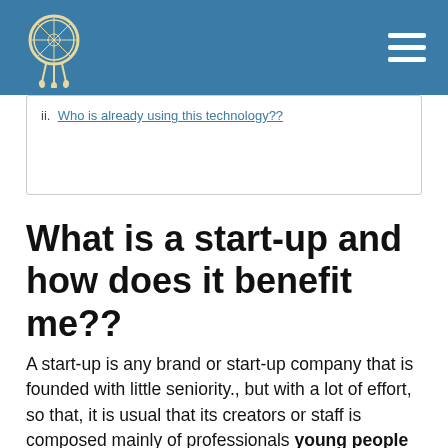Navigation bar with logo and hamburger menu
ii.  Who is already using this technology??
What is a start-up and how does it benefit me??
A start-up is any brand or start-up company that is founded with little seniority., but with a lot of effort, so that, it is usual that its creators or staff is composed mainly of professionals young people and entrepreneurs. What represents that all its business model goes hand in hand with the most innovative ideas of Digital Marketing and development with the public, while addressing a